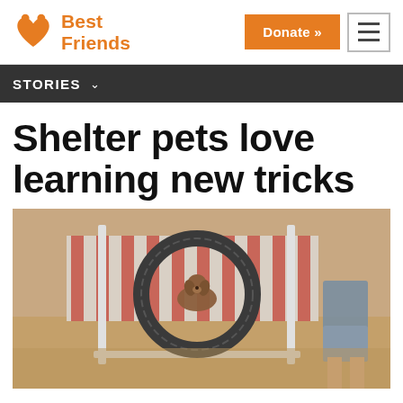[Figure (logo): Best Friends Animal Society logo with orange paw/heart icon and orange text 'Best Friends' with tagline 'Friends']
[Figure (screenshot): Donate button (orange) and hamburger menu icon in navigation bar]
STORIES
Shelter pets love learning new tricks
[Figure (photo): A dog jumping through a circular hoop agility obstacle on a sandy outdoor training area, with a trainer visible on the right side in plaid shorts. Red and white striped fence panels visible in background.]